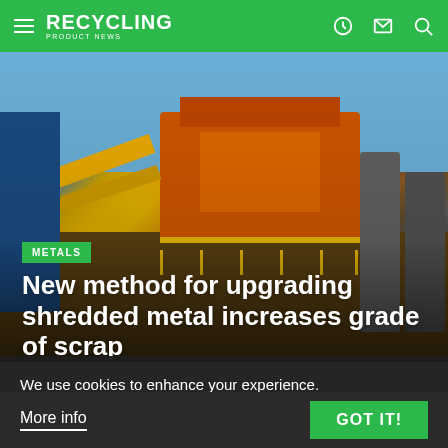RECYCLING PRODUCT NEWS
[Figure (photo): Industrial metal shredding/recycling facility with large orange and yellow machinery, conveyor belts, and cylindrical silos against a blue sky.]
METALS
New method for upgrading shredded metal increases grade of scrap
We use cookies to enhance your experience. By continuing to visit this site you agree to our use of cookies.
More info    GOT IT!